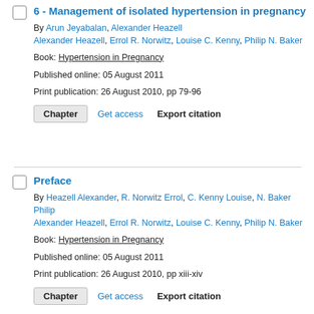6 - Management of isolated hypertension in pregnancy
By Arun Jeyabalan, Alexander Heazell Alexander Heazell, Errol R. Norwitz, Louise C. Kenny, Philip N. Baker
Book: Hypertension in Pregnancy
Published online: 05 August 2011
Print publication: 26 August 2010, pp 79-96
Chapter | Get access | Export citation
Preface
By Heazell Alexander, R. Norwitz Errol, C. Kenny Louise, N. Baker Philip Alexander Heazell, Errol R. Norwitz, Louise C. Kenny, Philip N. Baker
Book: Hypertension in Pregnancy
Published online: 05 August 2011
Print publication: 26 August 2010, pp xiii-xiv
Chapter | Get access | Export citation